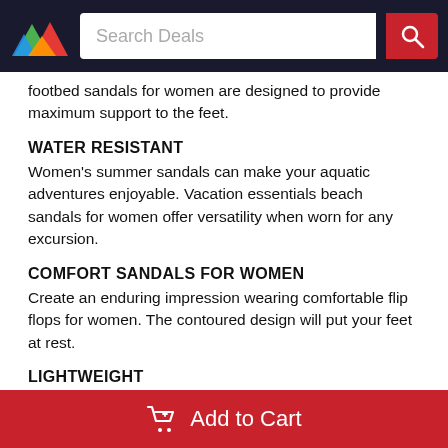Search Deals
footbed sandals for women are designed to provide maximum support to the feet.
WATER RESISTANT
Women's summer sandals can make your aquatic adventures enjoyable. Vacation essentials beach sandals for women offer versatility when worn for any excursion.
COMFORT SANDALS FOR WOMEN
Create an enduring impression wearing comfortable flip flops for women. The contoured design will put your feet at rest.
LIGHTWEIGHT
Encounter the boost of poise and ease with the women's flip flops on. The polyurethane sole of cute sandals for
Add to Cart